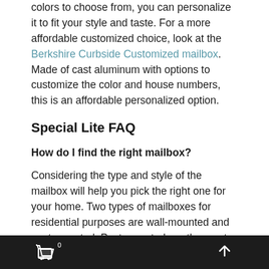colors to choose from, you can personalize it to fit your style and taste. For a more affordable customized choice, look at the Berkshire Curbside Customized mailbox. Made of cast aluminum with options to customize the color and house numbers, this is an affordable personalized option.
Special Lite FAQ
How do I find the right mailbox?
Considering the type and style of the mailbox will help you pick the right one for your home. Two types of mailboxes for residential purposes are wall-mounted and post mounted. Post mounted are the most popular mailboxes for many residential applications. Depending on your preference, designs range from traditional to sophisticated to customized.
0 (cart) ^ (back to top)